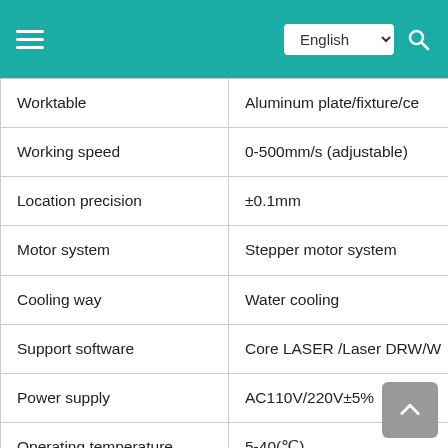English
| Parameter | Value |
| --- | --- |
| Worktable | Aluminum plate/fixture/ce… |
| Working speed | 0-500mm/s (adjustable) |
| Location precision | ±0.1mm |
| Motor system | Stepper motor system |
| Cooling way | Water cooling |
| Support software | Core LASER /Laser DRW/W… |
| Power supply | AC110V/220V±5%  50/60H… |
| Operating temperature | 5-40(℃) |
| Humidity | 0-95%(RH) |